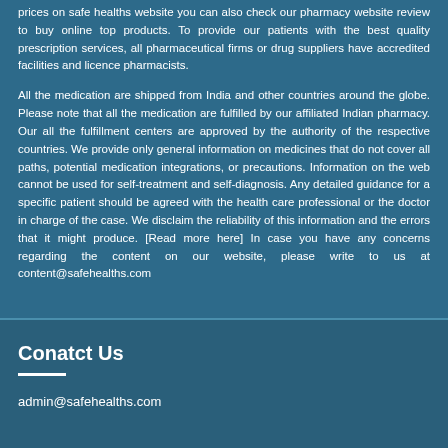prices on safe healths website you can also check our pharmacy website review to buy online top products. To provide our patients with the best quality prescription services, all pharmaceutical firms or drug suppliers have accredited facilities and licence pharmacists.
All the medication are shipped from India and other countries around the globe. Please note that all the medication are fulfilled by our affiliated Indian pharmacy. Our all the fulfillment centers are approved by the authority of the respective countries. We provide only general information on medicines that do not cover all paths, potential medication integrations, or precautions. Information on the web cannot be used for self-treatment and self-diagnosis. Any detailed guidance for a specific patient should be agreed with the health care professional or the doctor in charge of the case. We disclaim the reliability of this information and the errors that it might produce. [Read more here] In case you have any concerns regarding the content on our website, please write to us at content@safehealths.com
Conatct Us
admin@safehealths.com